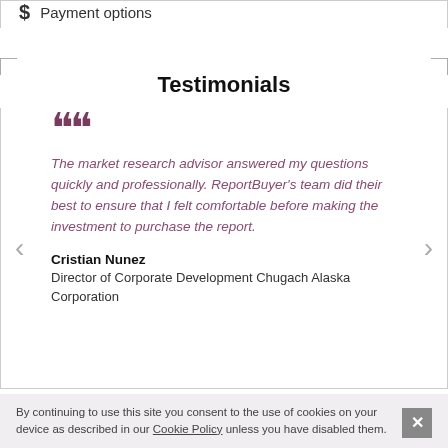$ Payment options
Testimonials
The market research advisor answered my questions quickly and professionally. ReportBuyer's team did their best to ensure that I felt comfortable before making the investment to purchase the report.
Cristian Nunez
Director of Corporate Development Chugach Alaska Corporation
By continuing to use this site you consent to the use of cookies on your device as described in our Cookie Policy unless you have disabled them.